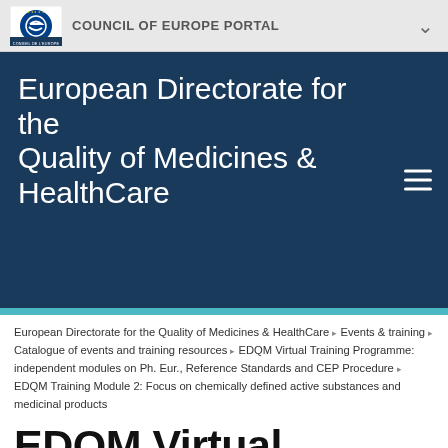COUNCIL OF EUROPE PORTAL
European Directorate for the Quality of Medicines & HealthCare
European Directorate for the Quality of Medicines & HealthCare ▸ Events & training ▸ Catalogue of events and training resources ▸ EDQM Virtual Training Programme: independent modules on Ph. Eur., Reference Standards and CEP Procedure ▸ EDQM Training Module 2: Focus on chemically defined active substances and medicinal products
EDQM Virtual